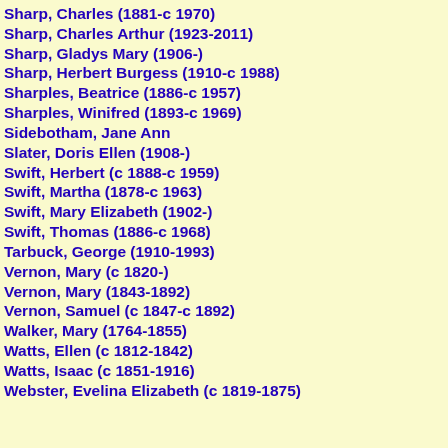Sharp, Charles  (1881-c 1970)
Sharp, Charles Arthur  (1923-2011)
Sharp, Gladys Mary  (1906-)
Sharp, Herbert Burgess  (1910-c 1988)
Sharples, Beatrice  (1886-c 1957)
Sharples, Winifred  (1893-c 1969)
Sidebotham, Jane Ann
Slater, Doris Ellen  (1908-)
Swift, Herbert  (c 1888-c 1959)
Swift, Martha  (1878-c 1963)
Swift, Mary Elizabeth  (1902-)
Swift, Thomas  (1886-c 1968)
Tarbuck, George  (1910-1993)
Vernon, Mary  (c 1820-)
Vernon, Mary  (1843-1892)
Vernon, Samuel  (c 1847-c 1892)
Walker, Mary  (1764-1855)
Watts, Ellen  (c 1812-1842)
Watts, Isaac  (c 1851-1916)
Webster, Evelina Elizabeth  (c 1819-1875)